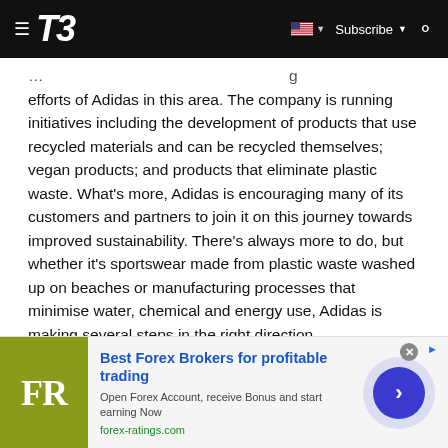T3 — Subscribe
efforts of Adidas in this area. The company is running initiatives including the development of products that use recycled materials and can be recycled themselves; vegan products; and products that eliminate plastic waste. What's more, Adidas is encouraging many of its customers and partners to join it on this journey towards improved sustainability. There's always more to do, but whether it's sportswear made from plastic waste washed up on beaches or manufacturing processes that minimise water, chemical and energy use, Adidas is making several steps in the right direction.
Sustainability Award shortlist
[Figure (screenshot): Advertisement banner for forex-ratings.com: 'Best Forex Brokers for profitable trading'. Open Forex Account, receive Bonus and start earning Now. Shows FR logo on olive/yellow-green background with blue arrow button.]